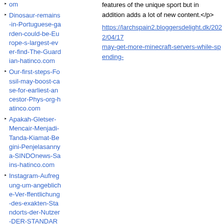om
Dinosaur-remains-in-Portuguese-garden-could-be-Europe-s-largest-ever-find-The-Guardian-hatinco.com
Our-first-steps-Fossil-may-boost-case-for-earliest-ancestor-Phys-org-hatinco.com
Apakah-Gletser-Mencair-Menjadi-Tanda-Kiamat-Begini-Penjelasannya-SINDOnews-Sains-hatinco.com
Instagram-Aufregung-um-angebliche-Ver-ffentlichung-des-exakten-Standorts-der-Nutzer-DER-STANDARD-hatinco.com
features of the unique sport but in addition adds a lot of new content.</p>
https://larchspain2.bloggersdelight.dk/2022/04/17/... may-get-more-minecraft-servers-while-spending-
Last-modified: 2022-04-17 (日) 20:05:24 (132d)
Site admin: anonymous
PukiWiki 1.5.1 © 2001-2016 PukiWiki Development Team. Powered by PHP 7.3.10. HTML convert time: 0.011 sec.